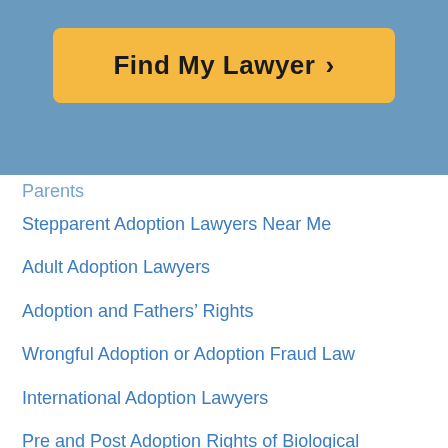[Figure (screenshot): Find My Lawyer button with yellow/gold background and chevron arrow, on blue banner background]
Parents (partial, clipped at top)
Stepparent Adoption Lawyers Near Me
Adult Adoption Lawyers
Adoption and Fathers' Rights
Wrongful Adoption or Adoption Fraud Law
International Adoption Lawyers
Pre and Post Adoption Rights of Biological Parents
Natural Parent Post Adoption Visitation
Adoption by Gay and Lesbian Parents
Adoption Dispute Lawyers
Access to Adoption Records
Ultimate Guide to Adoptions
Agency Adoption Laws (partial, clipped at bottom)